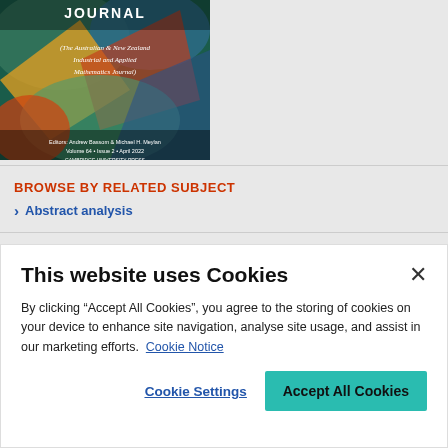[Figure (illustration): Journal cover for The ANZIAM Journal (The Australian & New Zealand Industrial and Applied Mathematics Journal), Cambridge University Press, showing colorful abstract art]
BROWSE BY RELATED SUBJECT
Abstract analysis
This website uses Cookies
By clicking “Accept All Cookies”, you agree to the storing of cookies on your device to enhance site navigation, analyse site usage, and assist in our marketing efforts. Cookie Notice